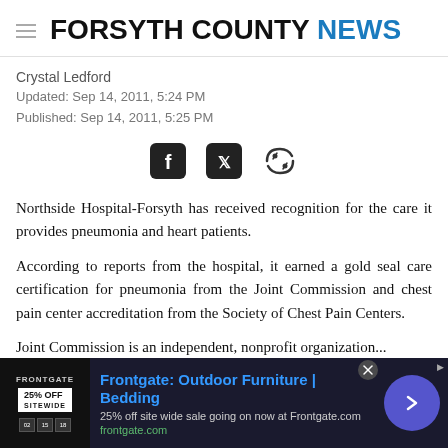FORSYTH COUNTY NEWS
Crystal Ledford
Updated: Sep 14, 2011, 5:24 PM
Published: Sep 14, 2011, 5:25 PM
[Figure (infographic): Social sharing icons: Facebook, Twitter, link/share icons]
Northside Hospital-Forsyth has received recognition for the care it provides pneumonia and heart patients.
According to reports from the hospital, it earned a gold seal care certification for pneumonia from the Joint Commission and chest pain center accreditation from the Society of Chest Pain Centers.
Joint Commission is an independent, nonprofit organization...
[Figure (infographic): Advertisement banner: Frontgate: Outdoor Furniture | Bedding — 25% off site wide sale going on now at Frontgate.com — frontgate.com]